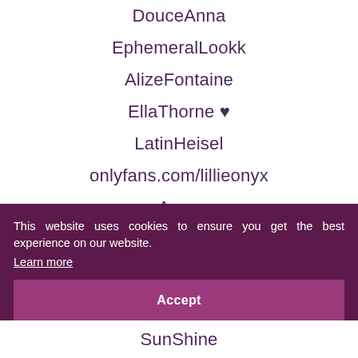DouceAnna
EphemeralLookk
AlizeFontaine
EllaThorne ♥
LatinHeisel
onlyfans.com/lillieonyx
Anna
This website uses cookies to ensure you get the best experience on our website.
Learn more
Accept
SunShine